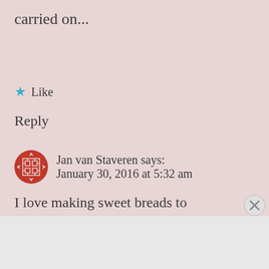there and her recipes will be carried on...
★ Like
Reply
Jan van Staveren says: January 30, 2016 at 5:32 am
I love making sweet breads to give to friends. Xo
★ Like
Advertisements